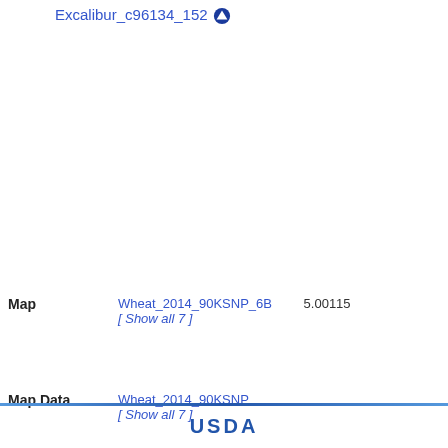Excalibur_c96134_152
Wang S et al. (2014) Characterization of polyploid wheat genomic diversity using a high-density 90 000 single nucleotide polymorphism array. Plant Biotechnology Journal 12:787-796.
Chromosome 6B
Arm
Map  Wheat_2014_90KSNP_6B  5.00115
[ Show all 7 ]
[ Show Nearby Loci ]
Map Data  Wheat_2014_90KSNP
[ Show all 7 ]
Species  Triticum aestivum
Reference  Wang S et al. (2014) Characterization of polyploid wheat genomic diversity using a high-density 90 000 single nucleotide polymorphism array. Plant Biotechnology Journal 12:787-796.
USDA